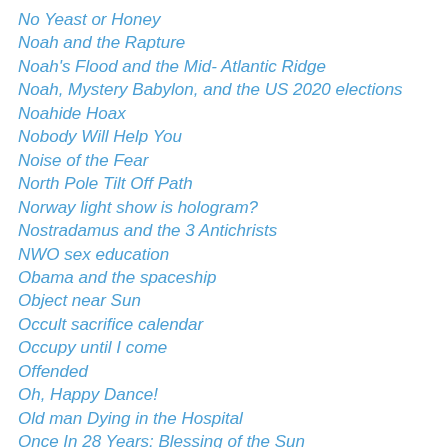No Yeast or Honey
Noah and the Rapture
Noah's Flood and the Mid- Atlantic Ridge
Noah, Mystery Babylon, and the US 2020 elections
Noahide Hoax
Nobody Will Help You
Noise of the Fear
North Pole Tilt Off Path
Norway light show is hologram?
Nostradamus and the 3 Antichrists
NWO sex education
Obama and the spaceship
Object near Sun
Occult sacrifice calendar
Occupy until I come
Offended
Oh, Happy Dance!
Old man Dying in the Hospital
Once In 28 Years: Blessing of the Sun
Once Saved, Always Saved ?